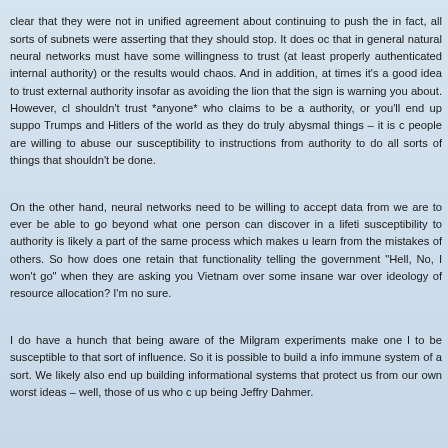clear that they were not in unified agreement about continuing to push the in fact, all sorts of subnets were asserting that they should stop. It does oc that in general natural neural networks must have some willingness to trust (at least properly authenticated internal authority) or the results would chaos. And in addition, at times it's a good idea to trust external authority insofar as avoiding the lion that the sign is warning you about. However, cl shouldn't trust *anyone* who claims to be a authority, or you'll end up suppo Trumps and Hitlers of the world as they do truly abysmal things – it is c people are willing to abuse our susceptibility to instructions from authority to do all sorts of things that shouldn't be done.
On the other hand, neural networks need to be willing to accept data from we are to ever be able to go beyond what one person can discover in a lifeti susceptibility to authority is likely a part of the same process which makes u learn from the mistakes of others. So how does one retain that functionality telling the government "Hell, No, I won't go" when they are asking you Vietnam over some insane war over ideology of resource allocation? I'm no sure.
I do have a hunch that being aware of the Milgram experiments make one l to be susceptible to that sort of influence. So it is possible to build a info immune system of a sort. We likely also end up building informational systems that protect us from our own worst ideas – well, those of us who c up being Jeffry Dahmer.